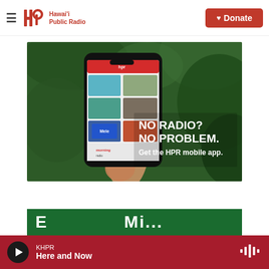Hawai'i Public Radio — Donate
[Figure (photo): Person holding a smartphone displaying the HPR mobile app interface. Background shows green tropical foliage. Text overlay reads: NO RADIO? NO PROBLEM. Get the HPR mobile app.]
[Figure (screenshot): Partial view of a green banner section partially cut off at the bottom of the page.]
KHPR
Here and Now